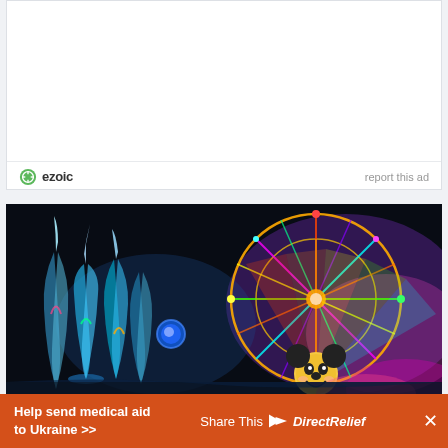[Figure (other): Ezoic advertisement placeholder - white rectangle with Ezoic branding logo and 'report this ad' link at the bottom]
[Figure (photo): Nighttime photo of Disneyland California Adventure - colorful illuminated Ferris wheel with Mickey Mouse face center, water fountains with colored lights, dark background]
This website uses cookies to improve your experience, but you
[Figure (other): Orange promotional banner reading 'Help send medical aid to Ukraine >>' with Share This and Direct Relief logos, and an X close button]